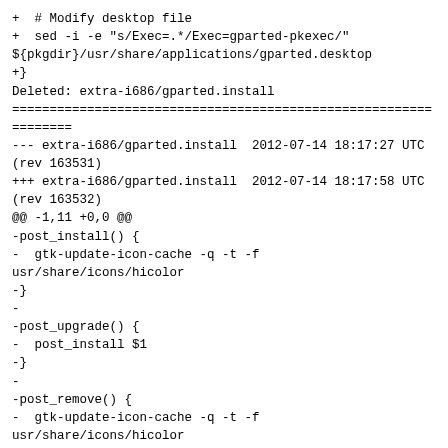+  # Modify desktop file
+  sed -i -e "s/Exec=.*/Exec=gparted-pkexec/" ${pkgdir}/usr/share/applications/gparted.desktop
+}
Deleted: extra-i686/gparted.install
================================================================
--- extra-i686/gparted.install  2012-07-14 18:17:27 UTC (rev 163531)
+++ extra-i686/gparted.install  2012-07-14 18:17:58 UTC (rev 163532)
@@ -1,11 +0,0 @@
-post_install() {
-  gtk-update-icon-cache -q -t -f usr/share/icons/hicolor
-}
-
-post_upgrade() {
-  post_install $1
-}
-
-post_remove() {
-  gtk-update-icon-cache -q -t -f usr/share/icons/hicolor
-}
Copied: gparted/repos/extra-i686/gparted.install (from rev 163531, gparted/trunk/gparted.install)
================================================================
--- extra-i686/gparted.install